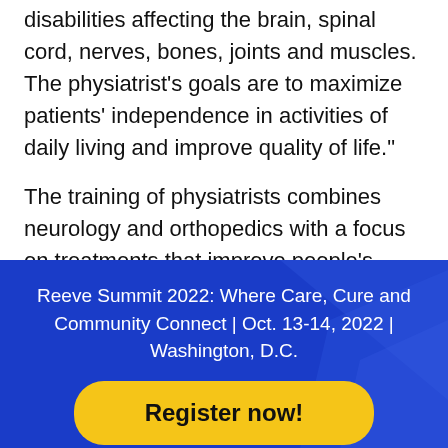disabilities affecting the brain, spinal cord, nerves, bones, joints and muscles. The physiatrist's goals are to maximize patients' independence in activities of daily living and improve quality of life."
The training of physiatrists combines neurology and orthopedics with a focus on treatments that improve people's ability to dress, walk, work, etc. Here are some generalizations - physiatrists love to see improvement in people's day-to-day lives. Orthopedic
Reeve Summit 2022: Where Care, Cure and Community Connect | Oct. 13-14, 2022 | Washington, D.C.
Register now!